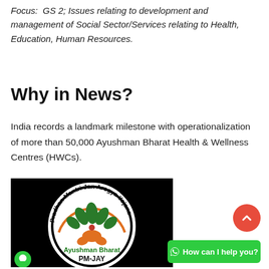Focus: GS 2; Issues relating to development and management of Social Sector/Services relating to Health, Education, Human Resources.
Why in News?
India records a landmark milestone with operationalization of more than 50,000 Ayushman Bharat Health & Wellness Centres (HWCs).
[Figure (logo): Pradhan Mantri Jan Arogya Yojana logo — circular badge with green leaf motif, orange base, text 'Pradhan Mantri Jan Arogya Yojana' around the circle, 'Ayushman Bharat' and 'PM-JAY' at the bottom, black background.]